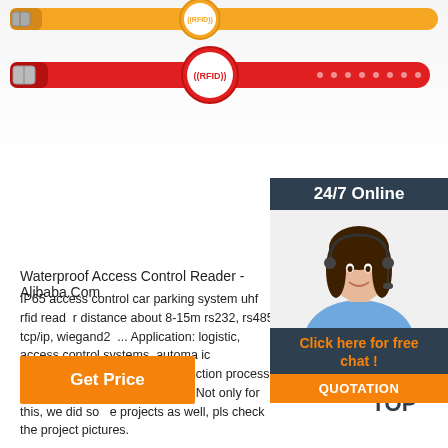[Figure (photo): RFID silicone wristbands in orange and red colors with RFID logo on circular disc]
24/7 Online
[Figure (photo): Customer service woman wearing headset smiling]
Click here for free chat !
QUOTATION
Waterproof Access Control Reader - Alibaba.Com
IP65 access control car parking system uhf rfid reader distance about 8-15m rs232, rs485, tcp/ip, wiegand26... Application: logistic, access control systems, automatic management system and production process control system. project pictures Not only for this, we did some projects as well, pls check the project pictures.
Get Price
[Figure (logo): TOP badge with orange dots forming an upward arrow above the word TOP]